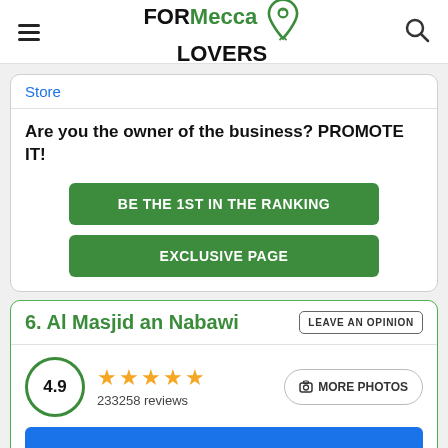FORMecca LOVERS
Store
Are you the owner of the business? PROMOTE IT!
BE THE 1ST IN THE RANKING
EXCLUSIVE PAGE
6. Al Masjid an Nabawi
4.9 ★★★★★ 233258 reviews
MORE PHOTOS